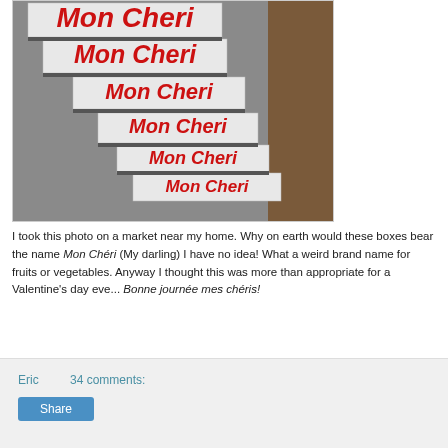[Figure (photo): Stack of white wooden crates/pallets each bearing the red 'Mon Cheri' brand name, stacked at a market]
I took this photo on a market near my home. Why on earth would these boxes bear the name Mon Chéri (My darling) I have no idea! What a weird brand name for fruits or vegetables. Anyway I thought this was more than appropriate for a Valentine's day eve... Bonne journée mes chéris!
Eric    34 comments:
Share